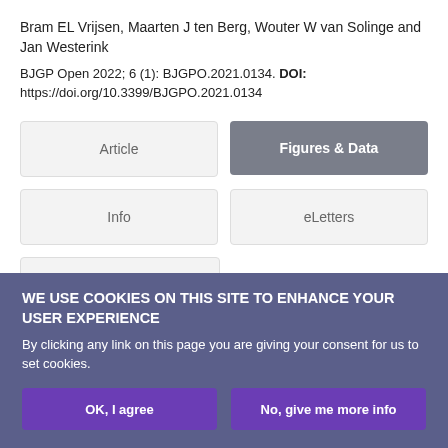Bram EL Vrijsen, Maarten J ten Berg, Wouter W van Solinge and Jan Westerink
BJGP Open 2022; 6 (1): BJGPO.2021.0134. DOI: https://doi.org/10.3399/BJGPO.2021.0134
Article
Figures & Data
Info
eLetters
PDF
WE USE COOKIES ON THIS SITE TO ENHANCE YOUR USER EXPERIENCE
By clicking any link on this page you are giving your consent for us to set cookies.
OK, I agree
No, give me more info